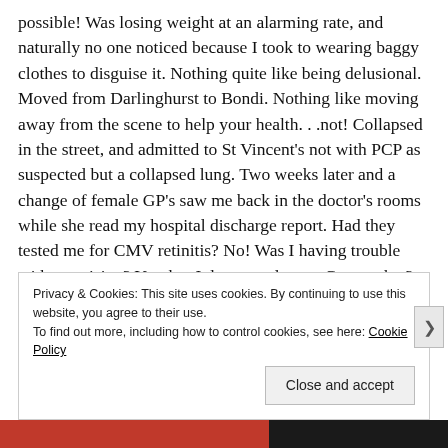possible! Was losing weight at an alarming rate, and naturally no one noticed because I took to wearing baggy clothes to disguise it. Nothing quite like being delusional. Moved from Darlinghurst to Bondi. Nothing like moving away from the scene to help your health...not! Collapsed in the street, and admitted to St Vincent's not with PCP as suspected but a collapsed lung. Two weeks later and a change of female GP's saw me back in the doctor's rooms while she read my hospital discharge report. Had they tested me for CMV retinitis? No! Was I having trouble with my vision? Yes, but I do wear glasses. Guess what? We're sending you for a little holiday at Prince Henry Hospital (now closed). I was a little bit sick. Chronic CMV retinitis,
Privacy & Cookies: This site uses cookies. By continuing to use this website, you agree to their use. To find out more, including how to control cookies, see here: Cookie Policy